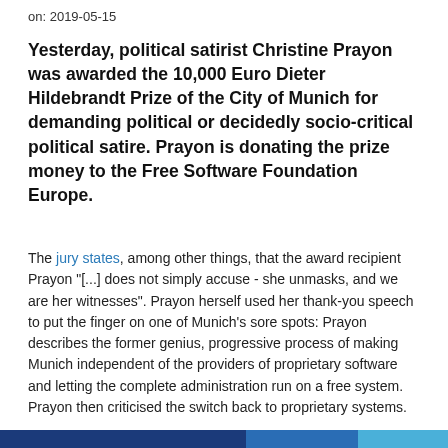on: 2019-05-15
Yesterday, political satirist Christine Prayon was awarded the 10,000 Euro Dieter Hildebrandt Prize of the City of Munich for demanding political or decidedly socio-critical political satire. Prayon is donating the prize money to the Free Software Foundation Europe.
The jury states, among other things, that the award recipient Prayon "[...] does not simply accuse - she unmasks, and we are her witnesses". Prayon herself used her thank-you speech to put the finger on one of Munich's sore spots: Prayon describes the former genius, progressive process of making Munich independent of the providers of proprietary software and letting the complete administration run on a free system. Prayon then criticised the switch back to proprietary systems.
[Figure (other): Decorative horizontal bar in three shades of blue spanning the bottom of the page]